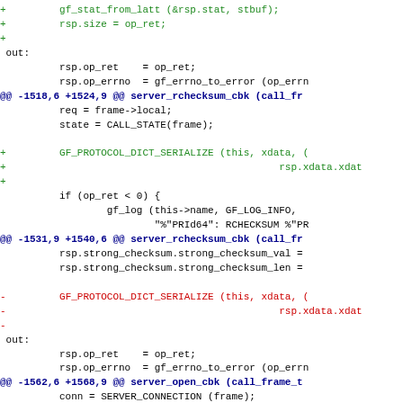[Figure (screenshot): Code diff snippet showing changes to server_rchecksum_cbk and server_open_cbk functions, with added lines in green (GF_PROTOCOL_DICT_SERIALIZE), removed lines in red, and diff headers in blue.]